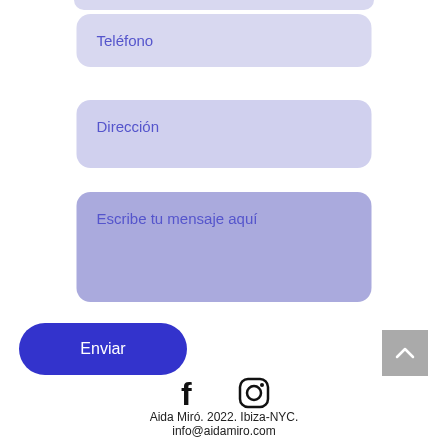Teléfono
Dirección
Escribe tu mensaje aquí
Enviar
[Figure (illustration): Back-to-top button arrow icon (grey square with white chevron up)]
[Figure (illustration): Facebook and Instagram social media icons]
Aida Miró. 2022. Ibiza-NYC.
info@aidamiro.com